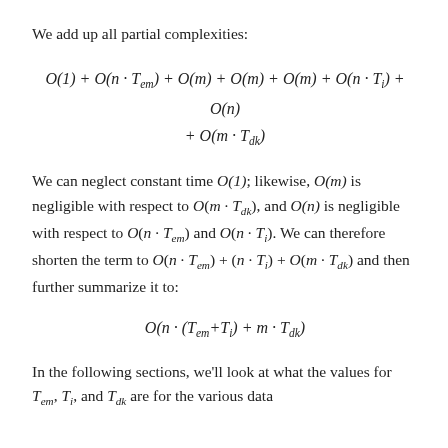We add up all partial complexities:
We can neglect constant time O(1); likewise, O(m) is negligible with respect to O(m · T_dk), and O(n) is negligible with respect to O(n · T_em) and O(n · T_i). We can therefore shorten the term to O(n · T_em) + (n · T_i) + O(m · T_dk) and then further summarize it to:
In the following sections, we'll look at what the values for T_em, T_i, and T_dk are for the various data